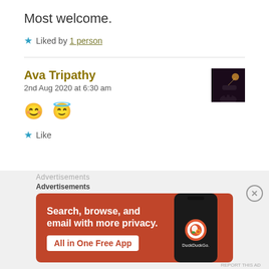Most welcome.
★ Liked by 1 person
Ava Tripathy
2nd Aug 2020 at 6:30 am
[Figure (photo): Small thumbnail avatar image showing a silhouette against a dark background]
😊 😇
★ Like
Advertisements
[Figure (screenshot): DuckDuckGo advertisement banner: 'Search, browse, and email with more privacy. All in One Free App' with phone mockup and DuckDuckGo logo]